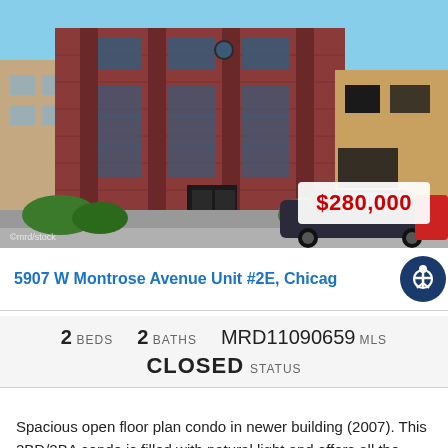[Figure (photo): Exterior photo of a 4-story red brick condo building at 5907 W Montrose Avenue, Chicago. A dark sedan is parked in front. Price badge showing $280,000 overlaid on lower right of photo.]
5907 W Montrose Avenue Unit #2E, Chicago
2 BEDS  2 BATHS  MRD11090659 MLS  CLOSED STATUS
Spacious open floor plan condo in newer building (2007). This 2BD/2BA condo is filled with natural light and offers all the finest finishes including the following: hardw...